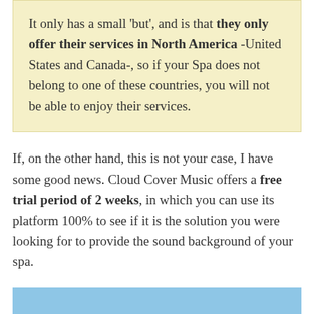It only has a small 'but', and is that they only offer their services in North America -United States and Canada-, so if your Spa does not belong to one of these countries, you will not be able to enjoy their services.
If, on the other hand, this is not your case, I have some good news. Cloud Cover Music offers a free trial period of 2 weeks, in which you can use its platform 100% to see if it is the solution you were looking for to provide the sound background of your spa.